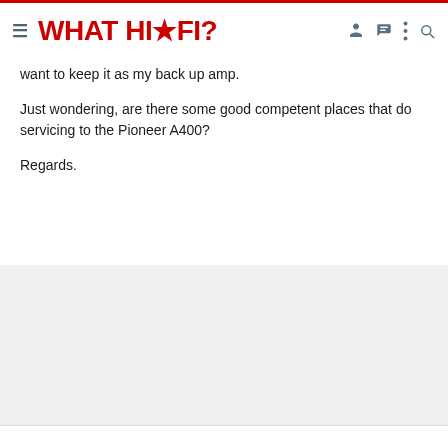WHAT HI-FI?
want to keep it as my back up amp.
Just wondering, are there some good competent places that do servicing to the Pioneer A400?
Regards.